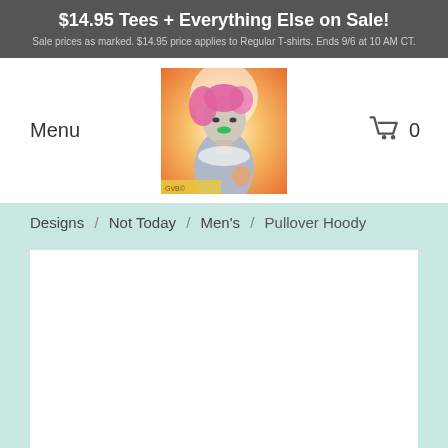$14.95 Tees + Everything Else on Sale! Sale prices as marked. $14.95 price applies to Regular T-shirts. Ends 9/6 at 10 AM CT.
Menu
[Figure (illustration): Colorful illustration of a stylized female figure with pink hair and green lips, with a glowing halo and warm orange/yellow background]
0
Designs / Not Today / Men's / Pullover Hoody
[Figure (other): White product image area (blank, product not loaded)]